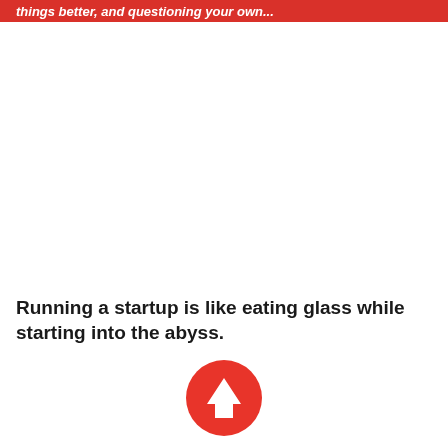things better, and questioning your own...
Running a startup is like eating glass while starting into the abyss.
[Figure (illustration): Red circular upward arrow icon button]